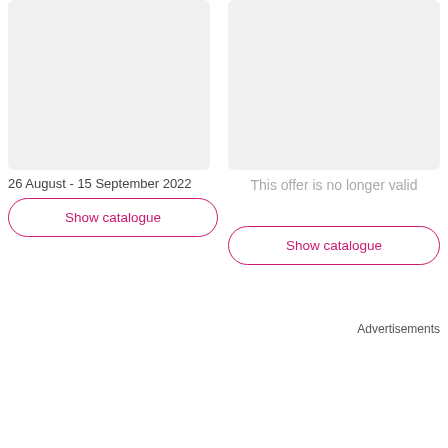[Figure (other): Grey placeholder image box on left side]
26 August - 15 September 2022
Show catalogue
[Figure (other): Grey placeholder image box on right side]
This offer is no longer valid
Show catalogue
Advertisements